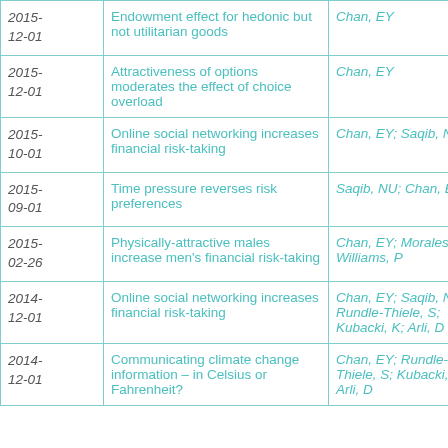| Date | Title | Authors |
| --- | --- | --- |
| 2015-12-01 | Endowment effect for hedonic but not utilitarian goods | Chan, EY |
| 2015-12-01 | Attractiveness of options moderates the effect of choice overload | Chan, EY |
| 2015-10-01 | Online social networking increases financial risk-taking | Chan, EY; Saqib, NU |
| 2015-09-01 | Time pressure reverses risk preferences | Saqib, NU; Chan, EY |
| 2015-02-26 | Physically-attractive males increase men's financial risk-taking | Chan, EY; Morales, A; Williams, P |
| 2014-12-01 | Online social networking increases financial risk-taking | Chan, EY; Saqib, NU; Rundle-Thiele, S; Kubacki, K; Arli, D |
| 2014-12-01 | Communicating climate change information – in Celsius or Fahrenheit? | Chan, EY; Rundle-Thiele, S; Kubacki, K; Arli, D |